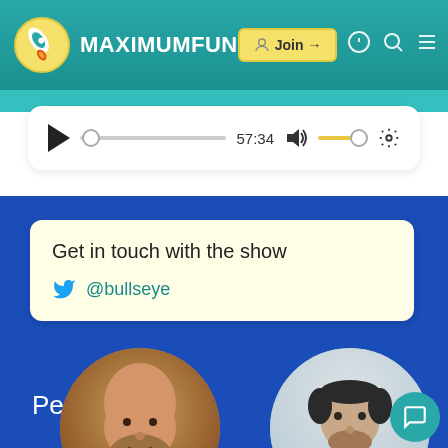MAXIMUMFUN
[Figure (screenshot): Audio player bar showing play button, progress track, timestamp 57:34, volume control, and settings gear icon]
Get in touch with the show
@bullseye
People
[Figure (photo): Circular profile photo of bearded bald man]
[Figure (photo): Circular profile photo of man with short dark hair]